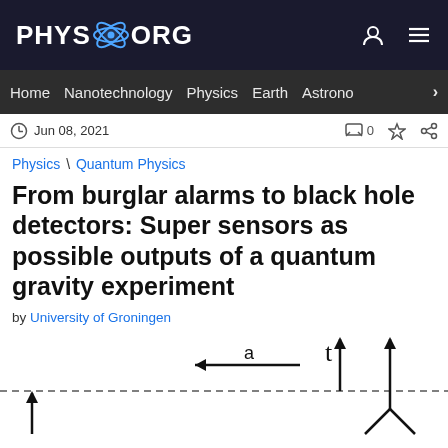PHYS.ORG
Home | Nanotechnology | Physics | Earth | Astronomy >
Jun 08, 2021   0
Physics \ Quantum Physics
From burglar alarms to black hole detectors: Super sensors as possible outputs of a quantum gravity experiment
by University of Groningen
[Figure (math-figure): Diagram showing variables: arrow labeled 'a' pointing left, 't' with upward arrow, and a Y-shaped figure with an upward arrow, with a dashed horizontal line across the image.]